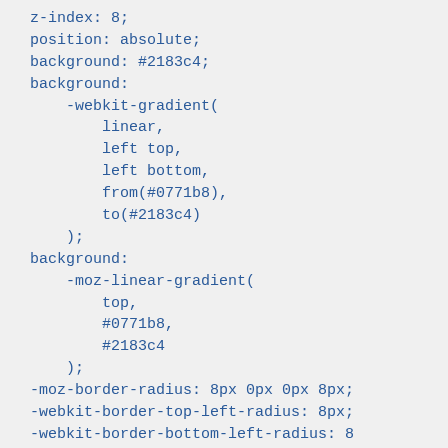z-index: 8;
    position: absolute;
    background: #2183c4;
    background:
        -webkit-gradient(
            linear,
            left top,
            left bottom,
            from(#0771b8),
            to(#2183c4)
        );
    background:
        -moz-linear-gradient(
            top,
            #0771b8,
            #2183c4
        );
    -moz-border-radius: 8px 0px 0px 8px;
    -webkit-border-top-left-radius: 8px;
    -webkit-border-bottom-left-radius: 8